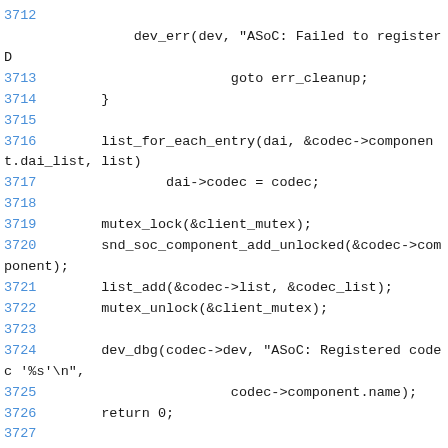Source code listing, lines 3712–3731, showing C kernel code for SoC audio codec registration.